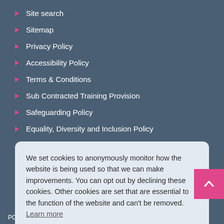Site search
Sitemap
Privacy Policy
Accessibility Policy
Terms & Conditions
Sub Contracted Training Provision
Safeguarding Policy
Equality, Diversity and Inclusion Policy
We set cookies to anonymously monitor how the website is being used so that we can make improvements. You can opt out by declining these cookies. Other cookies are set that are essential to the function of the website and can't be removed. Learn more
Decline  Allow
PO6 3TE